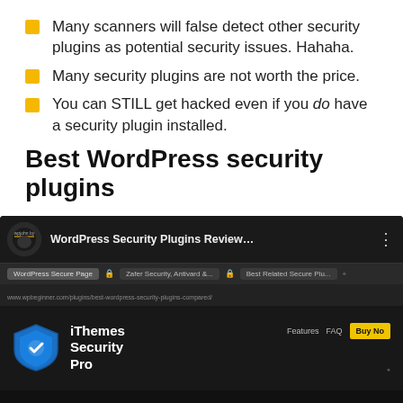Many scanners will false detect other security plugins as potential security issues. Hahaha.
Many security plugins are not worth the price.
You can STILL get hacked even if you do have a security plugin installed.
Best WordPress security plugins
[Figure (screenshot): Screenshot showing a YouTube video titled 'WordPress Security Plugins Review…' and below it a browser tab showing the iThemes Security Pro website with logo and navigation.]